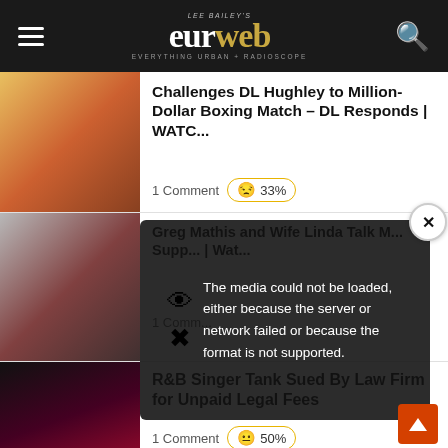LEE BAILEY'S eurweb — EVERYTHING URBAN + RADIOSCOPE
[Figure (photo): Thumbnail image for article about DL Hughley boxing match challenge]
Challenges DL Hughley to Million-Dollar Boxing Match – DL Responds | WATC...
1 Comment | 😐 33%
[Figure (photo): Thumbnail image of Greg Mathis and wife Linda]
Greg Mathis and Wife Linda Talk M... Supp... | Wat...
1 Comm...
[Figure (screenshot): Video error overlay: The media could not be loaded, either because the server or network failed or because the format is not supported.]
[Figure (photo): Thumbnail image of R&B singer Tank performing on stage]
R&B Singer Tank Sued By Law Firm for Unpaid Legal Fees
1 Comment | 😐 50%